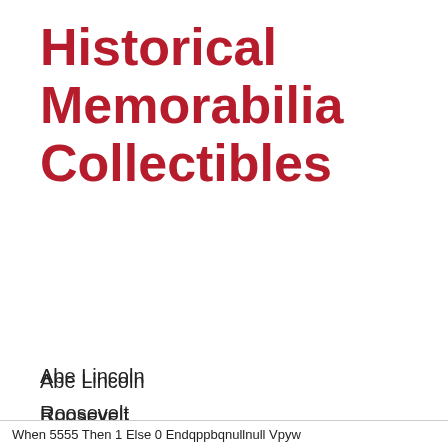Historical Memorabilia Collectibles
Abe Lincoln
Roosevelt
JFK
Benjamin Franklin
Paul Revere
Betsy Ross
When 5555 Then 1 Else 0 Endqppbqnullnull Vpyw